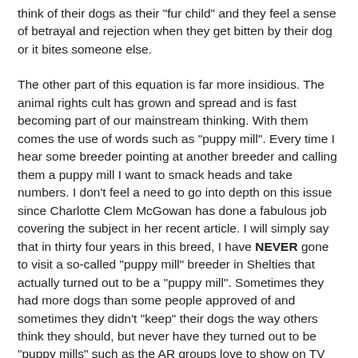think of their dogs as their "fur child" and they feel a sense of betrayal and rejection when they get bitten by their dog or it bites someone else.
The other part of this equation is far more insidious. The animal rights cult has grown and spread and is fast becoming part of our mainstream thinking. With them comes the use of words such as "puppy mill". Every time I hear some breeder pointing at another breeder and calling them a puppy mill I want to smack heads and take numbers. I don't feel a need to go into depth on this issue since Charlotte Clem McGowan has done a fabulous job covering the subject in her recent article. I will simply say that in thirty four years in this breed, I have NEVER gone to visit a so-called "puppy mill" breeder in Shelties that actually turned out to be a "puppy mill". Sometimes they had more dogs than some people approved of and sometimes they didn't "keep" their dogs the way others think they should, but never have they turned out to be "puppy mills" such as the AR groups love to show on TV with the filthy wire cages and sad-eyed dogs wallowing in their own filth. In fact two breeders that